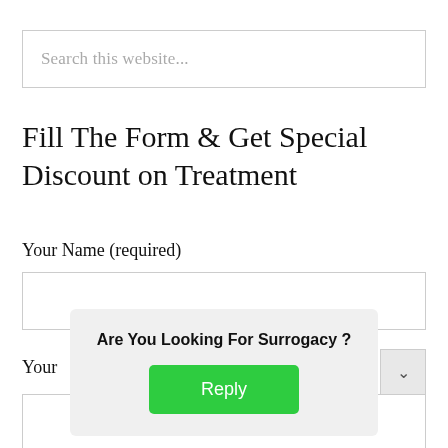Search this website...
Fill The Form & Get Special Discount on Treatment
Your Name (required)
Your
Are You Looking For Surrogacy ?
Reply